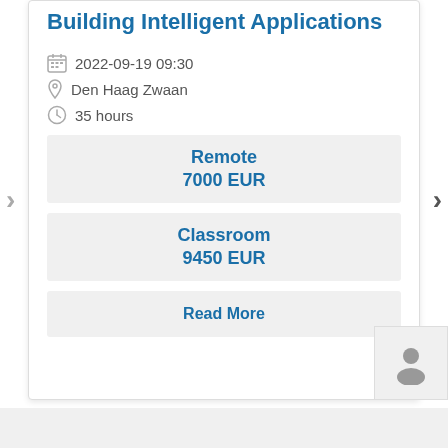Building Intelligent Applications
2022-09-19 09:30
Den Haag Zwaan
35 hours
Remote
7000 EUR
Classroom
9450 EUR
Read More
[Figure (illustration): User/person avatar icon in grey]